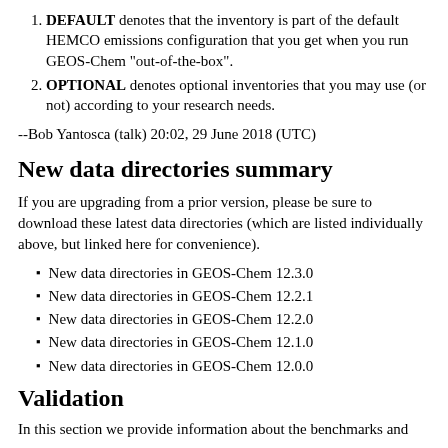DEFAULT denotes that the inventory is part of the default HEMCO emissions configuration that you get when you run GEOS-Chem "out-of-the-box".
OPTIONAL denotes optional inventories that you may use (or not) according to your research needs.
--Bob Yantosca (talk) 20:02, 29 June 2018 (UTC)
New data directories summary
If you are upgrading from a prior version, please be sure to download these latest data directories (which are listed individually above, but linked here for convenience).
New data directories in GEOS-Chem 12.3.0
New data directories in GEOS-Chem 12.2.1
New data directories in GEOS-Chem 12.2.0
New data directories in GEOS-Chem 12.1.0
New data directories in GEOS-Chem 12.0.0
Validation
In this section we provide information about the benchmarks and